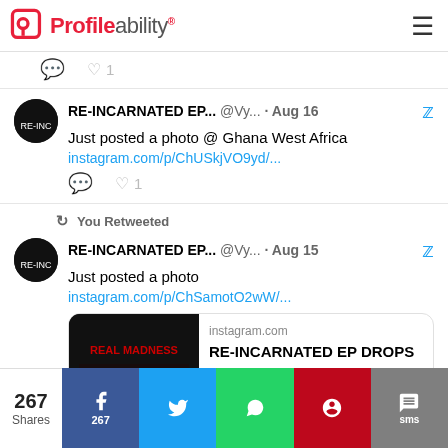Profileability
♡ 1
RE-INCARNATED EP... @Vy... · Aug 16 — Just posted a photo @ Ghana West Africa
instagram.com/p/ChUSkjVO9yd/...
♡ 1
You Retweeted
RE-INCARNATED EP... @Vy... · Aug 15 — Just posted a photo
instagram.com/p/ChSamotO2wW/...
instagram.com
RE-INCARNATED EP DROPS
267 Shares